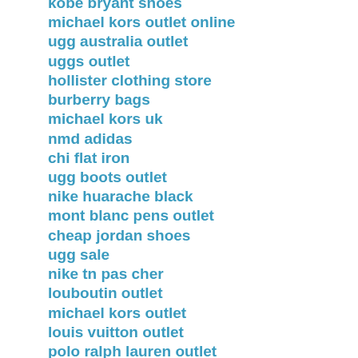kobe bryant shoes
michael kors outlet online
ugg australia outlet
uggs outlet
hollister clothing store
burberry bags
michael kors uk
nmd adidas
chi flat iron
ugg boots outlet
nike huarache black
mont blanc pens outlet
cheap jordan shoes
ugg sale
nike tn pas cher
louboutin outlet
michael kors outlet
louis vuitton outlet
polo ralph lauren outlet
discount nike air max
coach factory outlet
moncler uk
canada goose outlet